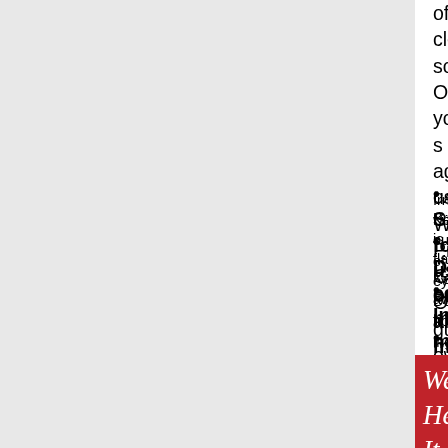of cleaning solution. Once you're satisfied, lubricate again using Wolf's Premium Gun Oil. Like most gun owners, you'll find significant differences. The substances that your original gun cleaning gave you a firearm that is cleaner, better lubricated. And we believe you'll switch to Wolf after the first try!
Safe for use on all metals and
Decreases equipment mainten
Increases metals resistance to
Increases lubricity up to 1200%
Quality tested to clean, lubricate, n corrosion.
CAUTION: Product is flammable. Keep away fr
Irritant. Keep out of eyes. Do not ingest.
[Figure (other): Red banner with white italic text reading 'We Hear It All The T' and below that partially visible text]